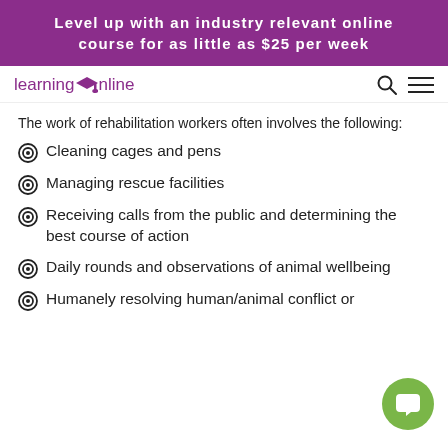Level up with an industry relevant online course for as little as $25 per week
[Figure (logo): Learning Online logo with graduation cap icon, search icon, and hamburger menu icon]
The work of rehabilitation workers often involves the following:
Cleaning cages and pens
Managing rescue facilities
Receiving calls from the public and determining the best course of action
Daily rounds and observations of animal wellbeing
Humanely resolving human/animal conflict or